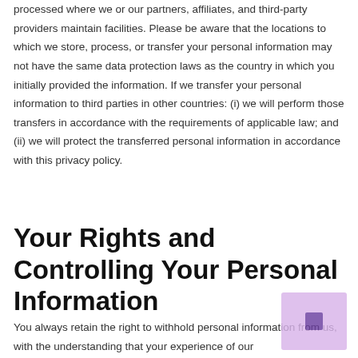processed where we or our partners, affiliates, and third-party providers maintain facilities. Please be aware that the locations to which we store, process, or transfer your personal information may not have the same data protection laws as the country in which you initially provided the information. If we transfer your personal information to third parties in other countries: (i) we will perform those transfers in accordance with the requirements of applicable law; and (ii) we will protect the transferred personal information in accordance with this privacy policy.
Your Rights and Controlling Your Personal Information
You always retain the right to withhold personal information from us, with the understanding that your experience of our